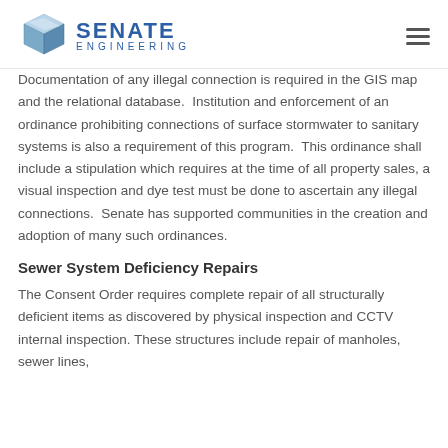Senate Engineering
Documentation of any illegal connection is required in the GIS map and the relational database.  Institution and enforcement of an ordinance prohibiting connections of surface stormwater to sanitary systems is also a requirement of this program.  This ordinance shall include a stipulation which requires at the time of all property sales, a visual inspection and dye test must be done to ascertain any illegal connections.  Senate has supported communities in the creation and adoption of many such ordinances.
Sewer System Deficiency Repairs
The Consent Order requires complete repair of all structurally deficient items as discovered by physical inspection and CCTV internal inspection. These structures include repair of manholes, sewer lines,